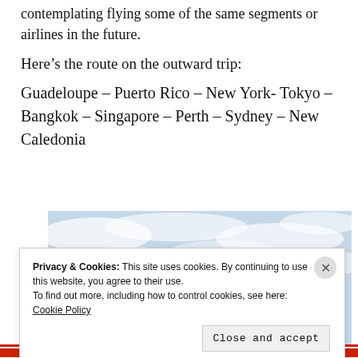contemplating flying some of the same segments or airlines in the future.
Here's the route on the outward trip:
Guadeloupe – Puerto Rico – New York- Tokyo – Bangkok – Singapore – Perth – Sydney – New Caledonia
[Figure (photo): Airplane wing tip viewed from inside the aircraft against a cloudy sky background]
Privacy & Cookies: This site uses cookies. By continuing to use this website, you agree to their use.
To find out more, including how to control cookies, see here: Cookie Policy
Close and accept